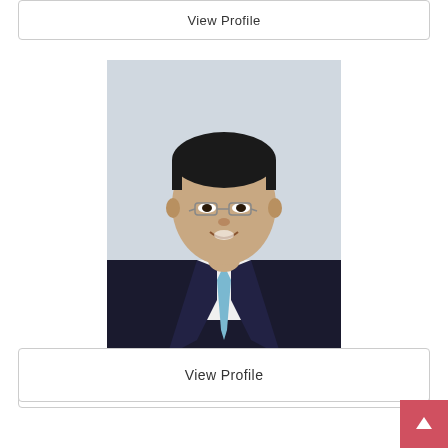View Profile
[Figure (photo): Professional headshot of Hiroshi Kagawa, MD, PhD — a man wearing glasses, a dark suit, and a light blue tie, smiling at the camera]
Hiroshi Kagawa, MD, PhD
Aortic Dissection, Cardiothoracic Surgery, Coronary Artery Bypass Surgery
View Profile